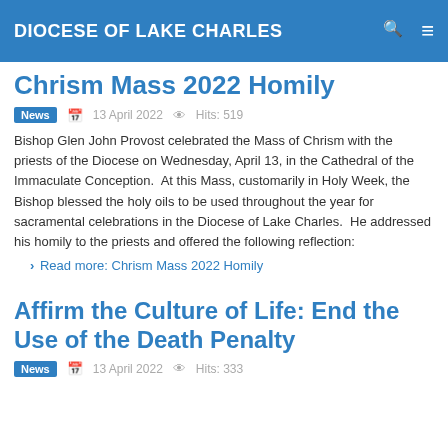DIOCESE OF LAKE CHARLES
Chrism Mass 2022 Homily
News  13 April 2022  Hits: 519
Bishop Glen John Provost celebrated the Mass of Chrism with the priests of the Diocese on Wednesday, April 13, in the Cathedral of the Immaculate Conception.  At this Mass, customarily in Holy Week, the Bishop blessed the holy oils to be used throughout the year for sacramental celebrations in the Diocese of Lake Charles.  He addressed his homily to the priests and offered the following reflection:
Read more: Chrism Mass 2022 Homily
Affirm the Culture of Life: End the Use of the Death Penalty
News  13 April 2022  Hits: 333